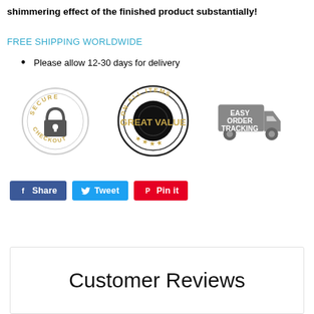shimmering effect of the finished product substantially!
FREE SHIPPING WORLDWIDE
Please allow 12-30 days for delivery
[Figure (infographic): Three trust badges: Secure Checkout (circle with padlock), Great Value On All Items (circular stamp with stars), Easy Order Tracking (delivery truck icon)]
[Figure (infographic): Social sharing buttons: Facebook Share (blue), Twitter Tweet (light blue), Pinterest Pin it (red)]
Customer Reviews